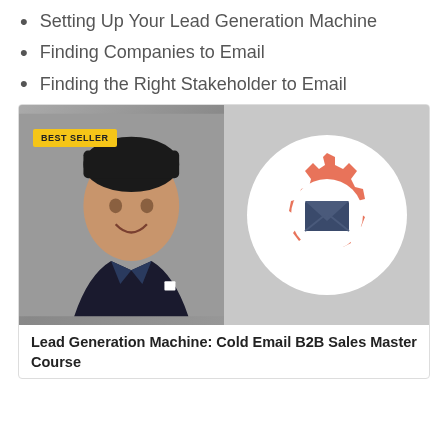Setting Up Your Lead Generation Machine
Finding Companies to Email
Finding the Right Stakeholder to Email
[Figure (photo): Course card image showing a young man in a blazer on the left and a gear-with-envelope icon on the right, with a 'BEST SELLER' badge overlay]
Lead Generation Machine: Cold Email B2B Sales Master Course